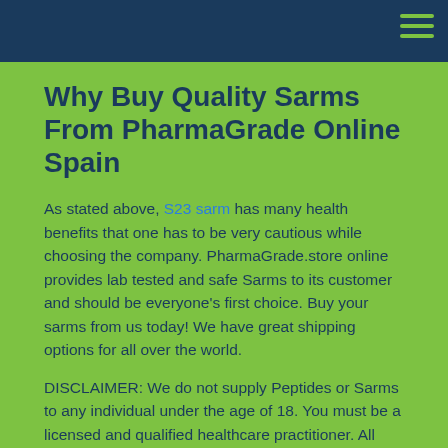Why Buy Quality Sarms From PharmaGrade Online Spain
As stated above, S23 sarm has many health benefits that one has to be very cautious while choosing the company. PharmaGrade.store online provides lab tested and safe Sarms to its customer and should be everyone's first choice. Buy your sarms from us today! We have great shipping options for all over the world.
DISCLAIMER: We do not supply Peptides or Sarms to any individual under the age of 18. You must be a licensed and qualified healthcare practitioner. All products listed on this website (https://pharmagrade.store) and provided through Pharma Grade are intended ONLY FOR medical